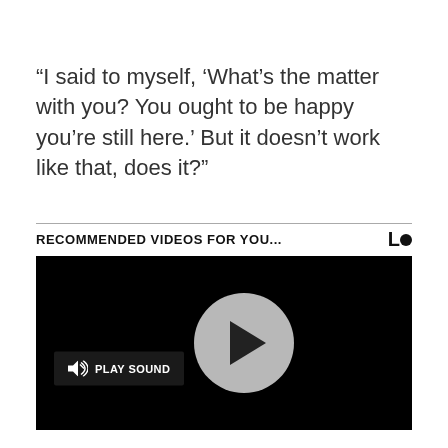“I said to myself, ‘What’s the matter with you? You ought to be happy you’re still here.’ But it doesn’t work like that, does it?”
RECOMMENDED VIDEOS FOR YOU...
[Figure (screenshot): Video player with black background, a gray circular play button in the center, and a dark 'PLAY SOUND' button with speaker icon on the left side.]